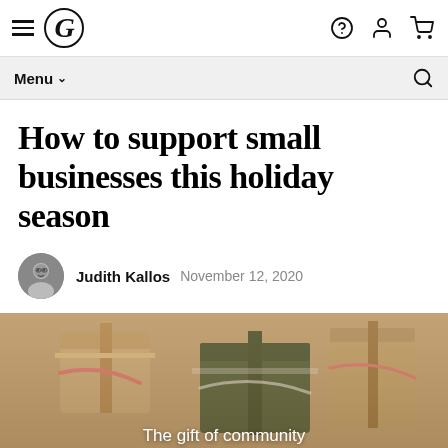Menu | G logo | ? | person icon | cart icon
How to support small businesses this holiday season
Judith Kallos  November 12, 2020
[Figure (photo): Close-up photo of wrapped holiday gift boxes with ribbons, warm tones. Overlay text: The gift of community]